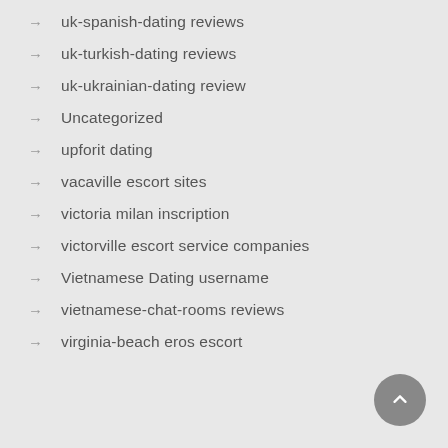uk-spanish-dating reviews
uk-turkish-dating reviews
uk-ukrainian-dating review
Uncategorized
upforit dating
vacaville escort sites
victoria milan inscription
victorville escort service companies
Vietnamese Dating username
vietnamese-chat-rooms reviews
virginia-beach eros escort